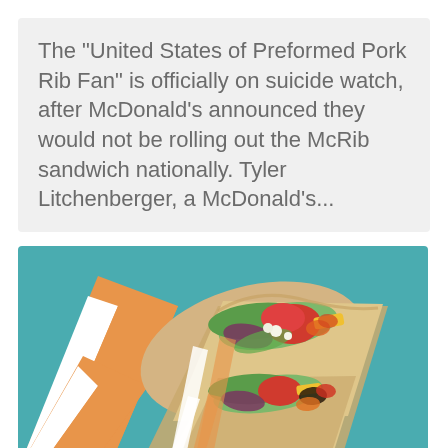The "United States of Preformed Pork Rib Fan" is officially on suicide watch, after McDonald's announced they would not be rolling out the McRib sandwich nationally. Tyler Litchenberger, a McDonald's...
[Figure (photo): Two tortilla wraps/burritos held up against a teal/turquoise background, filled with colorful vegetables including tomatoes, lettuce, red onion, corn, and other toppings, partially wrapped in white paper with orange stripes.]